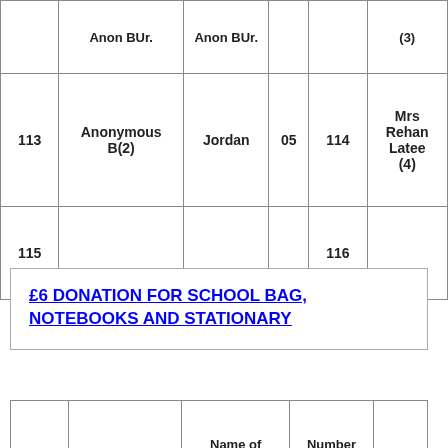|  |  |  |  |  |  |
| --- | --- | --- | --- | --- | --- |
|  | Anon BUr. | Anon BUr. |  |  | (3) |
| 113 | Anonymous B(2) | Jordan | 05 | 114 | Mrs Rehan Latee (4) |
| 115 |  |  |  | 116 |  |
£6 DONATION FOR SCHOOL BAG, NOTEBOOKS AND STATIONARY
|  |  | Name of | Number |  |
| --- | --- | --- | --- | --- |